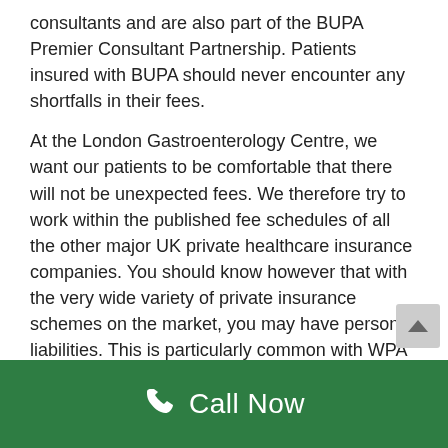consultants and are also part of the BUPA Premier Consultant Partnership. Patients insured with BUPA should never encounter any shortfalls in their fees.
At the London Gastroenterology Centre, we want our patients to be comfortable that there will not be unexpected fees. We therefore try to work within the published fee schedules of all the other major UK private healthcare insurance companies. You should know however that with the very wide variety of private insurance schemes on the market, you may have personal liabilities. This is particularly common with WPA patients who often agree to pay a proportion of
Call Now